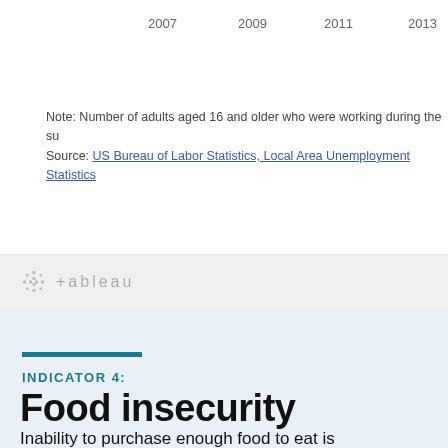[Figure (continuous-plot): Partial view of a line/area chart showing year axis labels: 2007, 2009, 2011, 2013 along the top x-axis]
Note: Number of adults aged 16 and older who were working during the su
Source: US Bureau of Labor Statistics, Local Area Unemployment Statistics
[Figure (logo): Tableau logo with grid icon and text '+ableau' in light gray]
INDICATOR 4:
Food insecurity
Inability to purchase enough food to eat is